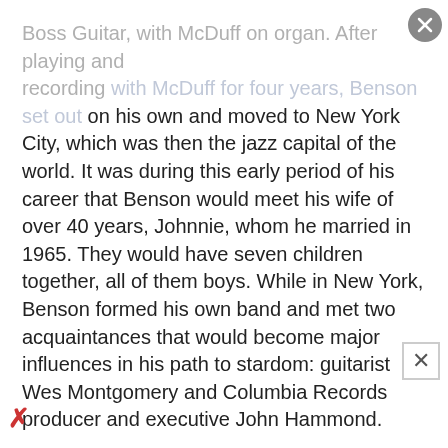Boss Guitar, with McDuff on organ. After playing and recording with McDuff for four years, Benson set out on his own and moved to New York City, which was then the jazz capital of the world. It was during this early period of his career that Benson would meet his wife of over 40 years, Johnnie, whom he married in 1965. They would have seven children together, all of them boys. While in New York, Benson formed his own band and met two acquaintances that would become major influences in his path to stardom: guitarist Wes Montgomery and Columbia Records producer and executive John Hammond.
It was Wes Montgomery, one of jazz’s most creative guitar players, who discovered Benson early, complimenting and encouraging the young guitarist to continue his already